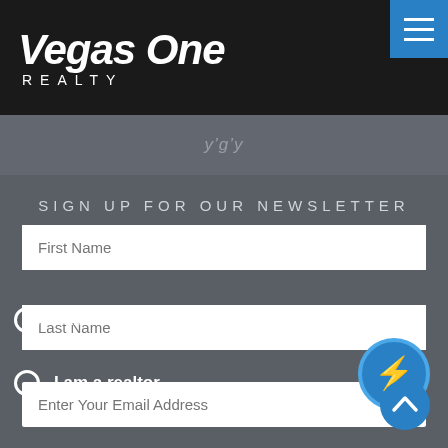[Figure (logo): Vegas One Realty logo with white italic bold text on black background, and a blue hamburger menu button in top right]
SIGN UP FOR OUR NEWSLETTER
First Name
Last Name
Enter Your Email Address
I am a homeowner
I am a realtor